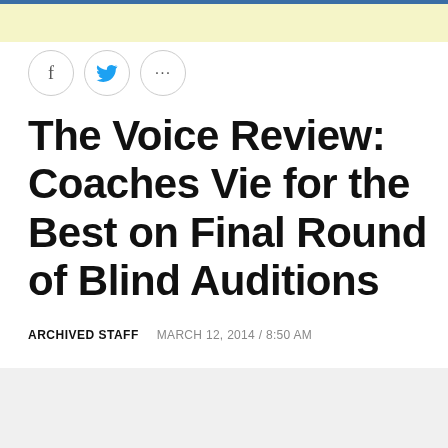[Figure (other): Social sharing icons: Facebook (f), Twitter (bird), and more options (...)]
The Voice Review: Coaches Vie for the Best on Final Round of Blind Auditions
ARCHIVED STAFF   MARCH 12, 2014 / 8:50 AM